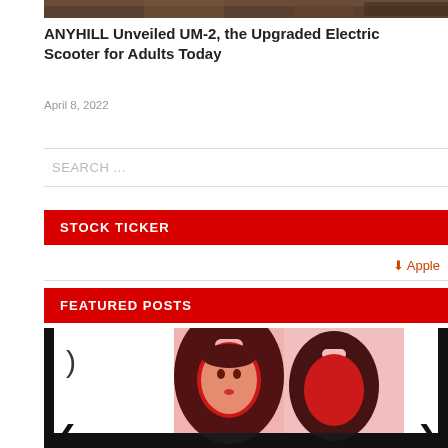[Figure (photo): Partial view of a dark-toned outdoor/nature photo at top of page]
ANYHILL Unveiled UM-2, the Upgraded Electric Scooter for Adults Today
April 8, 2022
SEARCH ...
STOCK TICKER
↓ Apple
FEATURED POSTS
[Figure (photo): Carousel image showing decorative luggage tags with geisha/tattoo artwork designs on white background, with left and right navigation arrows]